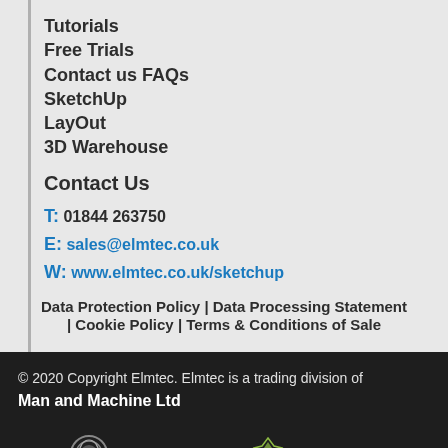Tutorials
Free Trials
Contact us FAQs
SketchUp
LayOut
3D Warehouse
Contact Us
T: 01844 263750
E: sales@elmtec.co.uk
W: www.elmtec.co.uk/sketchup
Data Protection Policy | Data Processing Statement | Cookie Policy | Terms & Conditions of Sale
© 2020 Copyright Elmtec. Elmtec is a trading division of Man and Machine Ltd
[Figure (logo): Elmtec logo (circular icon with E letter and ELMTEC wordmark) and Trimble logo (diamond/star icon with Trimble wordmark)]